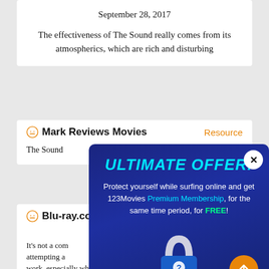September 28, 2017
The effectiveness of The Sound really comes from its atmospherics, which are rich and disturbing
Mark Reviews Movies
Resource
The Sound
[Figure (screenshot): Popup overlay with dark blue background showing 'ULTIMATE OFFER!' in cyan italic bold text, followed by text: 'Protect yourself while surfing online and get 123Movies Premium Membership, for the same time period, for FREE!' with a lock icon with a question mark, a close X button top-right, and an orange arrow up button bottom-right.]
Blu-ray.com
It's not a comp... attempting a... work, especially when there's 90 minutes of screen